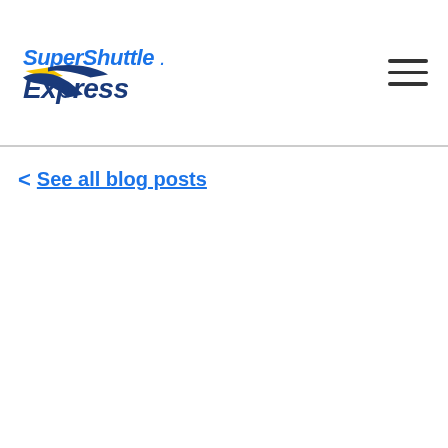[Figure (logo): SuperShuttle Express logo with blue italic text and yellow/blue chevron swoosh graphic]
< See all blog posts